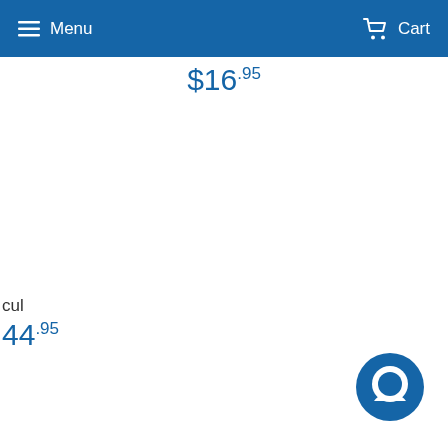Menu  Cart
$16.95
cul
$44.95
[Figure (illustration): Blue circular chat/message button icon in the bottom right corner]